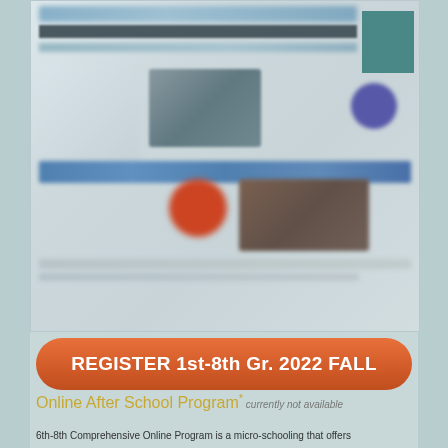[Figure (screenshot): Blurred screenshot of a school website with navigation bar, images of students, a red circle/button, and various content sections]
REGISTER 1st-8th Gr. 2022 FALL
Online After School Program* currently not available
6th-8th Comprehensive Online Program is a micro-schooling that offers